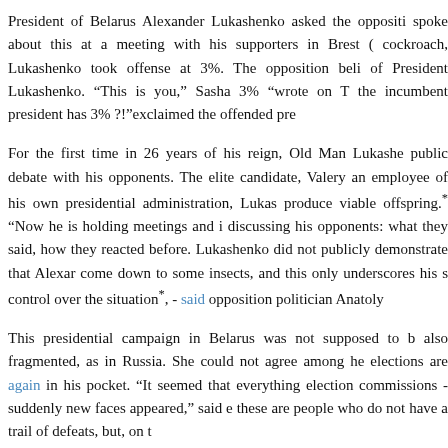President of Belarus Alexander Lukashenko asked the oppositi spoke about this at a meeting with his supporters in Brest ( cockroach, Lukashenko took offense at 3%. The opposition beli of President Lukashenko. "This is you," Sasha 3% "wrote on T the incumbent president has 3% ?!"exclaimed the offended pre
For the first time in 26 years of his reign, Old Man Lukashe public debate with his opponents. The elite candidate, Valery an employee of his own presidential administration, Lukas produce viable offspring.* "Now he is holding meetings and i discussing his opponents: what they said, how they reacted before. Lukashenko did not publicly demonstrate that Alexar come down to some insects, and this only underscores his s control over the situation*, - said opposition politician Anatoly
This presidential campaign in Belarus was not supposed to b also fragmented, as in Russia. She could not agree among he elections are again in his pocket. "It seemed that everything election commissions - suddenly new faces appeared," said e these are people who do not have a trail of defeats, but, on t